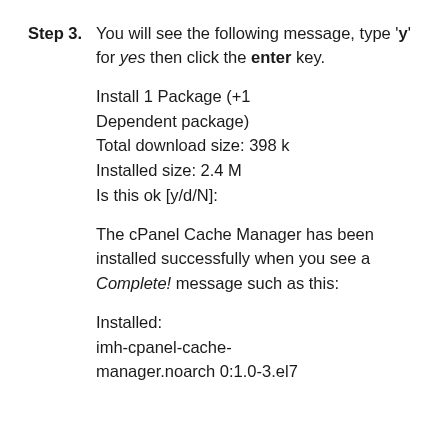Step 3. You will see the following message, type 'y' for yes then click the enter key.

Install 1 Package (+1 Dependent package)
Total download size: 398 k
Installed size: 2.4 M
Is this ok [y/d/N]:

The cPanel Cache Manager has been installed successfully when you see a Complete! message such as this:

Installed:
imh-cpanel-cache-manager.noarch 0:1.0-3.el7